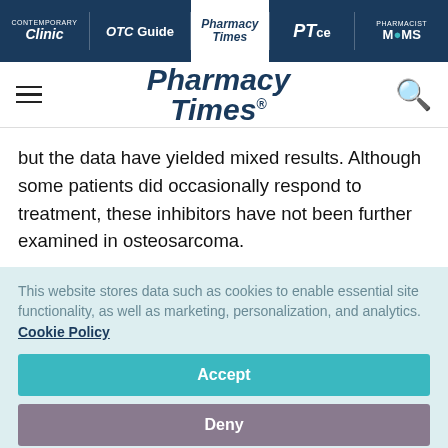Clinic | OTC Guide | Pharmacy Times | PTce | Pharmacist MOMS
[Figure (logo): Pharmacy Times logo with hamburger menu and search icon]
but the data have yielded mixed results. Although some patients did occasionally respond to treatment, these inhibitors have not been further examined in osteosarcoma.
This website stores data such as cookies to enable essential site functionality, as well as marketing, personalization, and analytics. Cookie Policy
Accept
Deny